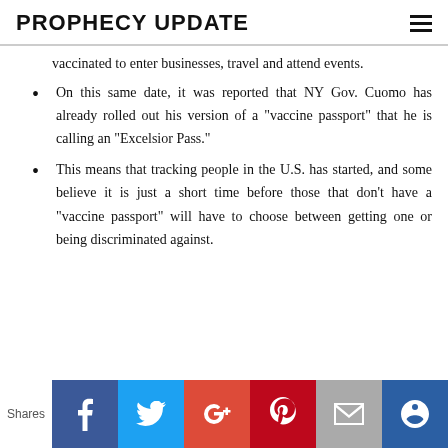PROPHECY UPDATE
vaccinated to enter businesses, travel and attend events.
On this same date, it was reported that NY Gov. Cuomo has already rolled out his version of a “vaccine passport” that he is calling an “Excelsior Pass.”
This means that tracking people in the U.S. has started, and some believe it is just a short time before those that don’t have a “vaccine passport” will have to choose between getting one or being discriminated against.
Shares